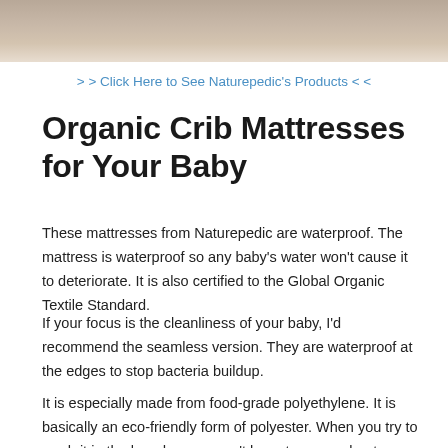[Figure (photo): Partial photo strip at top of page showing a soft blurred background, likely a crib or mattress product image in beige/tan tones]
> > Click Here to See Naturepedic's Products < <
Organic Crib Mattresses for Your Baby
These mattresses from Naturepedic are waterproof. The mattress is waterproof so any baby's water won't cause it to deteriorate. It is also certified to the Global Organic Textile Standard.
If your focus is the cleanliness of your baby, I'd recommend the seamless version. They are waterproof at the edges to stop bacteria buildup.
It is especially made from food-grade polyethylene. It is basically an eco-friendly form of polyester. When you try to wash it in the laundry, you won't have to worry about any harmful chemicals